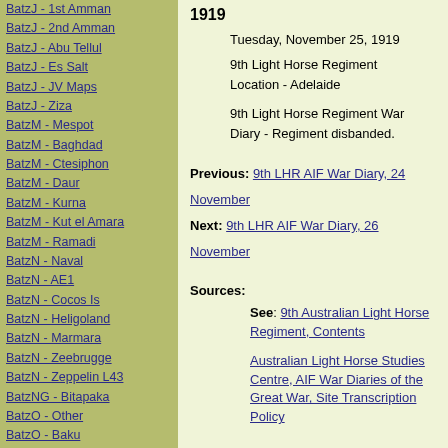BatzJ - 1st Amman
BatzJ - 2nd Amman
BatzJ - Abu Tellul
BatzJ - Es Salt
BatzJ - JV Maps
BatzJ - Ziza
BatzM - Mespot
BatzM - Baghdad
BatzM - Ctesiphon
BatzM - Daur
BatzM - Kurna
BatzM - Kut el Amara
BatzM - Ramadi
BatzN - Naval
BatzN - AE1
BatzN - Cocos Is
BatzN - Heligoland
BatzN - Marmara
BatzN - Zeebrugge
BatzN - Zeppelin L43
BatzNG - Bitapaka
BatzO - Other
BatzO - Baku
BatzO - Egypt 1919
BatzO - Emptsa
BatzO - Karawaran
BatzO - Peitang
BatzO - Wassa
1919
Tuesday, November 25, 1919
9th Light Horse Regiment Location - Adelaide
9th Light Horse Regiment War Diary - Regiment disbanded.
Previous: 9th LHR AIF War Diary, 24 November
Next: 9th LHR AIF War Diary, 26 November
Sources:
See: 9th Australian Light Horse Regiment, Contents
Australian Light Horse Studies Centre, AIF War Diaries of the Great War, Site Transcription Policy